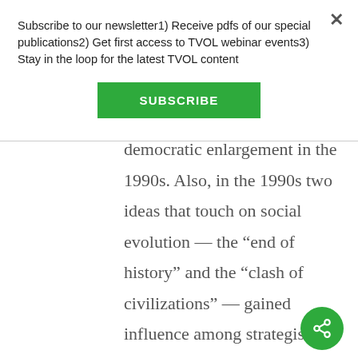Subscribe to our newsletter1) Receive pdfs of our special publications2) Get first access to TVOL webinar events3) Stay in the loop for the latest TVOL content
SUBSCRIBE
democratic enlargement in the 1990s. Also, in the 1990s two ideas that touch on social evolution — the “end of history” and the “clash of civilizations” — gained influence among strategists. In the 2000s,